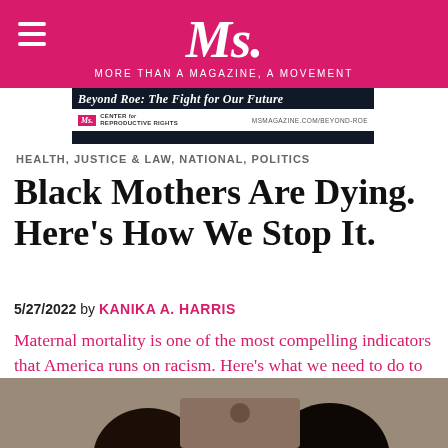Ms. MORE THAN A MAGAZINE, A MOVEMENT
[Figure (screenshot): Advertisement banner for Ms. Magazine Beyond Roe campaign with Center for Reproductive Rights, linking to msmagazine.com/beyond-roe]
HEALTH, JUSTICE & LAW, NATIONAL, POLITICS
Black Mothers Are Dying. Here’s How We Stop It.
5/27/2022 by KANIKA A. HARRIS
Maternal mortality is one of the most compelling indicators that America runs on racism. Here’s what we need to do to overcome this legacy and current reality.
[Figure (photo): Photo of Black mothers, partial view showing two individuals]